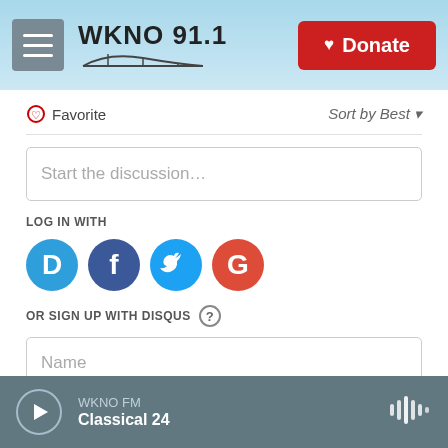WKNO 91.1 | Donate
Favorite | Sort by Best
Start the discussion...
LOG IN WITH
[Figure (logo): Social login icons: Disqus (D), Facebook (f), Twitter bird, Google (G)]
OR SIGN UP WITH DISQUS ?
Name
Be the first to comment.
WKNO FM | Classical 24